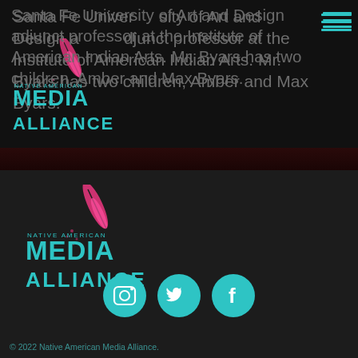Santa Fe University of Art and Design adjunct professor at the Institute of American Indian Arts. Mr. Byars has two children, Amber and Max Byars.
[Figure (logo): Native American Media Alliance logo - top section overlay, teal text with pink feather]
[Figure (logo): Native American Media Alliance logo - footer section, teal text with pink feather]
[Figure (infographic): Three teal circle social media icons: Instagram, Twitter, Facebook]
© 2022 Native American Media Alliance.